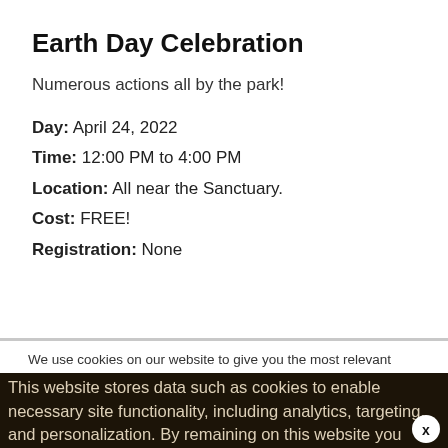Earth Day Celebration
Numerous actions all by the park!
Day: April 24, 2022
Time: 12:00 PM to 4:00 PM
Location: All near the Sanctuary.
Cost: FREE!
Registration: None
We use cookies on our website to give you the most relevant experience by remembering your preferences and repeat visits. By clicking "Accept All", you consent to the use of ALL the cookies. However, you may visit "Cookie Settings" to provide a controlled consent.
This website stores data such as cookies to enable necessary site functionality, including analytics, targeting, and personalization. By remaining on this website you indicate your consent Cookie Policy